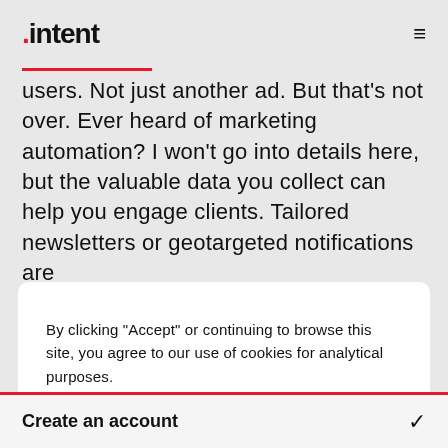.intent
users. Not just another ad. But that’s not over. Ever heard of marketing automation? I won’t go into details here, but the valuable data you collect can help you engage clients. Tailored newsletters or geotargeted notifications are
By clicking “Accept” or continuing to browse this site, you agree to our use of cookies for analytical purposes.
Accept
Create an account